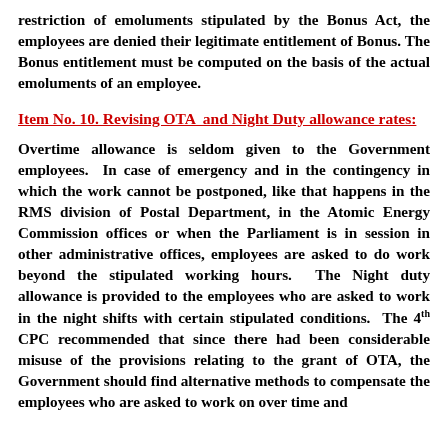restriction of emoluments stipulated by the Bonus Act, the employees are denied their legitimate entitlement of Bonus. The Bonus entitlement must be computed on the basis of the actual emoluments of an employee.
Item No. 10. Revising OTA  and Night Duty allowance rates:
Overtime allowance is seldom given to the Government employees.  In case of emergency and in the contingency in which the work cannot be postponed, like that happens in the RMS division of Postal Department, in the Atomic Energy Commission offices or when the Parliament is in session in other administrative offices, employees are asked to do work beyond the stipulated working hours.  The Night duty allowance is provided to the employees who are asked to work in the night shifts with certain stipulated conditions.  The 4th CPC recommended that since there had been considerable misuse of the provisions relating to the grant of OTA, the Government should find alternative methods to compensate the employees who are asked to work on over time and